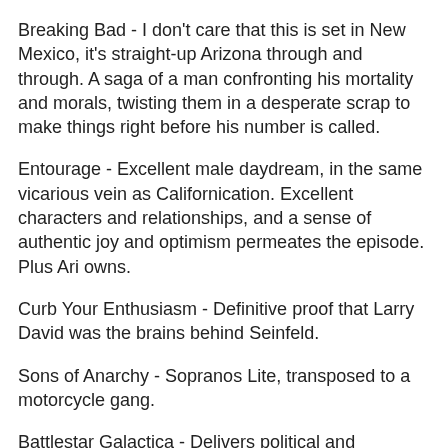Breaking Bad - I don't care that this is set in New Mexico, it's straight-up Arizona through and through. A saga of a man confronting his mortality and morals, twisting them in a desperate scrap to make things right before his number is called.
Entourage - Excellent male daydream, in the same vicarious vein as Californication. Excellent characters and relationships, and a sense of authentic joy and optimism permeates the episode. Plus Ari owns.
Curb Your Enthusiasm - Definitive proof that Larry David was the brains behind Seinfeld.
Sons of Anarchy - Sopranos Lite, transposed to a motorcycle gang.
Battlestar Galactica - Delivers political and philosophical messages with elegance and great special effects. Terrible wrap-up though.
The Wire - Sometimes it's a be a left city, lettin in...